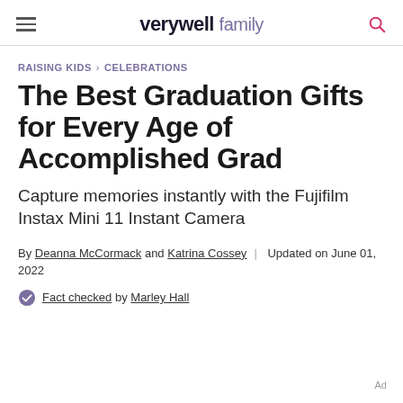verywell family
RAISING KIDS > CELEBRATIONS
The Best Graduation Gifts for Every Age of Accomplished Grad
Capture memories instantly with the Fujifilm Instax Mini 11 Instant Camera
By Deanna McCormack and Katrina Cossey | Updated on June 01, 2022
Fact checked by Marley Hall